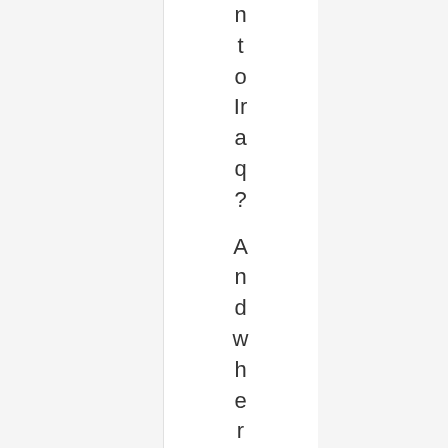n t o Ir a q ? And where is Osama b